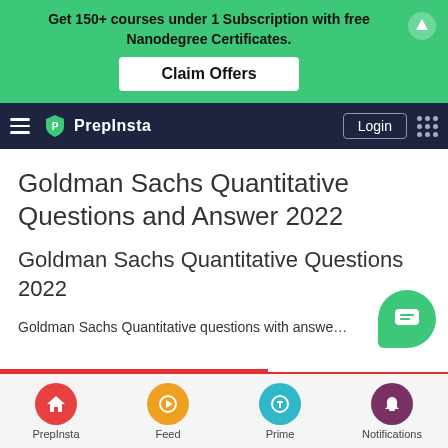Get 150+ courses under 1 Subscription with free Nanodegree Certificates.
Claim Offers
PrepInsta — Login
Goldman Sachs Quantitative Questions and Answer 2022
Goldman Sachs Quantitative Questions 2022
Goldman Sachs Quantitative questions with answe…
PrepInsta | Feed | Prime | Notifications